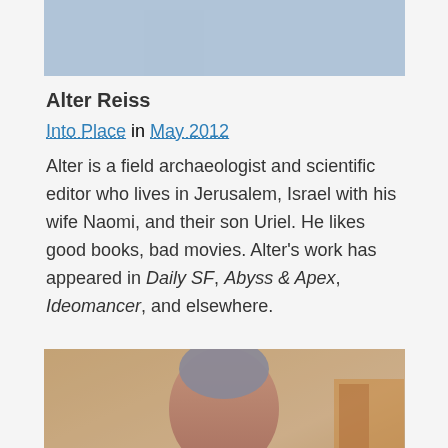[Figure (photo): Partial photo of a person in a blue top, cropped at the top of the page]
Alter Reiss
Into Place in May 2012
Alter is a field archaeologist and scientific editor who lives in Jerusalem, Israel with his wife Naomi, and their son Uriel. He likes good books, bad movies. Alter's work has appeared in Daily SF, Abyss & Apex, Ideomancer, and elsewhere.
[Figure (photo): Photo of a middle-aged man with grey hair, smiling, wearing a blazer, with a blurred outdoor background]